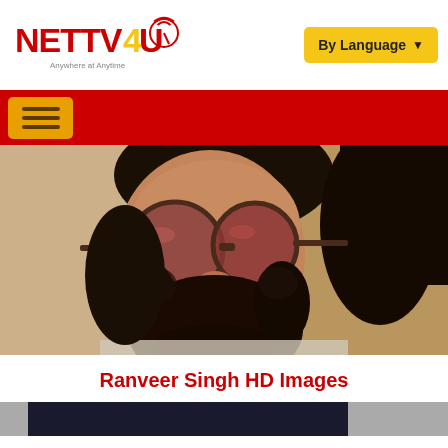NETTV4U - Anywhere at Anytime | By Language
[Figure (photo): Man with dark hair, beard, and red-tinted round sunglasses - Ranveer Singh HD Images photo]
Ranveer Singh HD Images
[Figure (photo): Partial bottom image strip, partially visible]